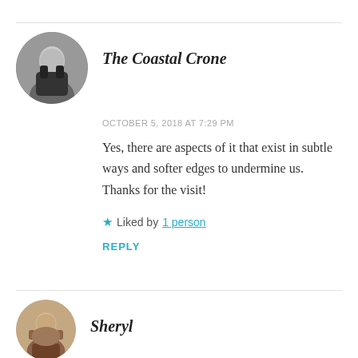The Coastal Crone
OCTOBER 5, 2018 AT 7:29 PM
Yes, there are aspects of it that exist in subtle ways and softer edges to undermine us. Thanks for the visit!
Liked by 1 person
REPLY
Sheryl